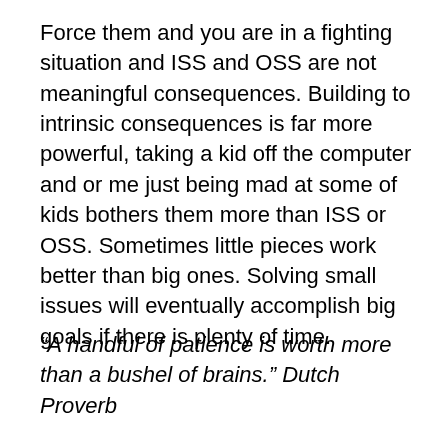Force them and you are in a fighting situation and ISS and OSS are not meaningful consequences. Building to intrinsic consequences is far more powerful, taking a kid off the computer and or me just being mad at some of kids bothers them more than ISS or OSS. Sometimes little pieces work better than big ones. Solving small issues will eventually accomplish big goals if there is plenty of time.
“A handful of patience is worth more than a bushel of brains.” Dutch Proverb